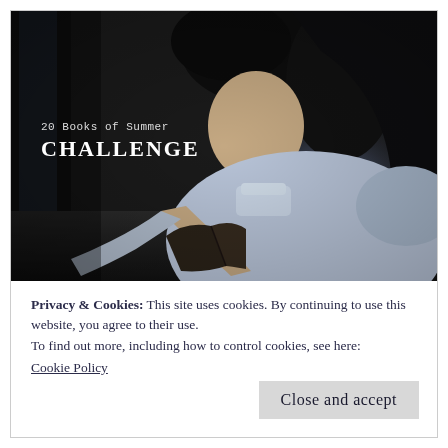[Figure (photo): A young Asian woman in a white long-sleeve top with a mandarin collar, sitting and reading a book. Dark moody background with soft light illuminating her face and clothes. Overlaid text reads '20 Books of Summer CHALLENGE'.]
Privacy & Cookies: This site uses cookies. By continuing to use this website, you agree to their use.
To find out more, including how to control cookies, see here:
Cookie Policy
Close and accept